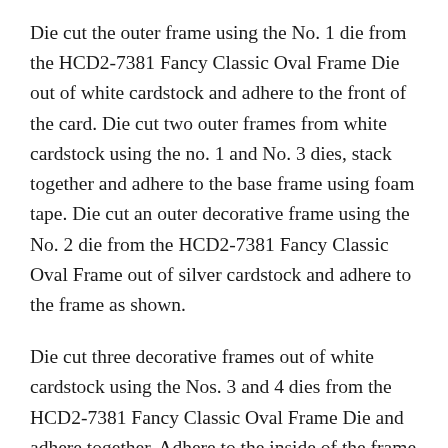Die cut the outer frame using the No. 1 die from the HCD2-7381 Fancy Classic Oval Frame Die out of white cardstock and adhere to the front of the card. Die cut two outer frames from white cardstock using the no. 1 and No. 3 dies, stack together and adhere to the base frame using foam tape. Die cut an outer decorative frame using the No. 2 die from the HCD2-7381 Fancy Classic Oval Frame out of silver cardstock and adhere to the frame as shown.
Die cut three decorative frames out of white cardstock using the Nos. 3 and 4 dies from the HCD2-7381 Fancy Classic Oval Frame Die and adhere together. Adhere to the inside of the frame as shown.